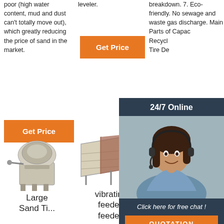poor (high water content, mud and dust can't totally move out), which greatly reducing the price of sand in the market.
leveler.
breakdown. 7. Eco-friendly. No sewage and waste gas discharge. Main Parts of Capacity Recycling Tire De
[Figure (other): Orange Get Price button (column 2 top)]
[Figure (other): 24/7 Online chat overlay with woman wearing headset, click here for free chat text, and QUOTATION button]
[Figure (other): Orange Get Price button (column 1)]
[Figure (other): Orange Get button (column 3)]
[Figure (photo): Industrial machine - Large Sand Tipe product image]
[Figure (photo): Vibrating feeder machine product image]
[Figure (photo): China Vibrating machine product image with TOP badge]
Large Sand Ti...
vibrating feeder, feeder,
China Vibra...